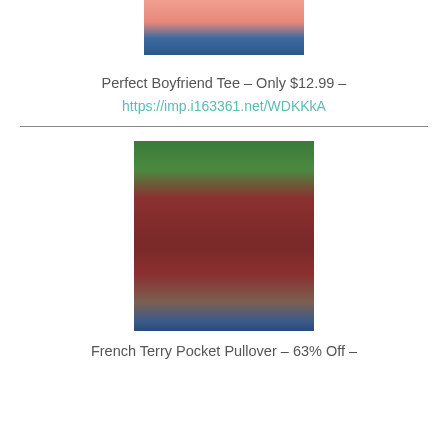[Figure (photo): Partial image of a woman wearing a pink/coral knotted tee with distressed jeans, cropped at torso level]
Perfect Boyfriend Tee – Only $12.99 –
https://imp.i163361.net/WDKKkA
[Figure (photo): Woman wearing a dark red/maroon French terry pullover with long sleeves and a pocket, standing near green foliage]
French Terry Pocket Pullover – 63% Off –